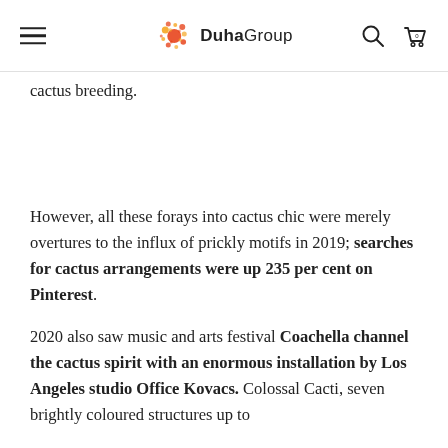Duha Group
cactus breeding.
However, all these forays into cactus chic were merely overtures to the influx of prickly motifs in 2019; searches for cactus arrangements were up 235 per cent on Pinterest.
2020 also saw music and arts festival Coachella channel the cactus spirit with an enormous installation by Los Angeles studio Office Kovacs. Colossal Cacti, seven brightly coloured structures up to